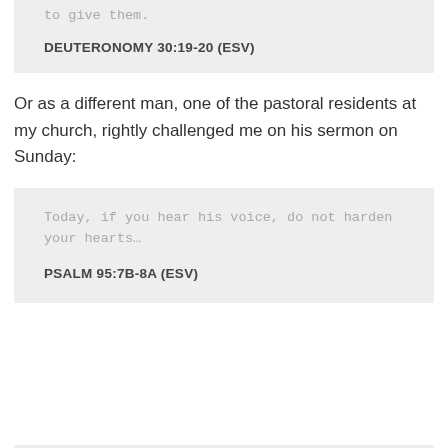to give them.
DEUTERONOMY 30:19-20 (ESV)
Or as a different man, one of the pastoral residents at my church, rightly challenged me on his sermon on Sunday:
Today, if you hear his voice, do not harden your hearts…
PSALM 95:7B-8A (ESV)